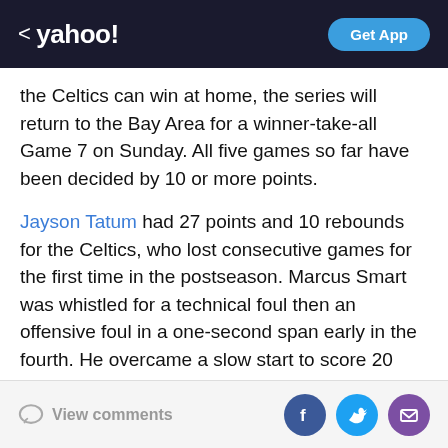< yahoo! | Get App
the Celtics can win at home, the series will return to the Bay Area for a winner-take-all Game 7 on Sunday. All five games so far have been decided by 10 or more points.
Jayson Tatum had 27 points and 10 rebounds for the Celtics, who lost consecutive games for the first time in the postseason. Marcus Smart was whistled for a technical foul then an offensive foul in a one-second span early in the fourth. He overcame a slow start to score 20 points.
Jordan Poole knocked down a 33-foot 3 from the left wing to beat the third-quarter buzzer as the Warriors took a 75-74 lead into the final 12 minutes after the
View comments | Facebook | Twitter | Mail